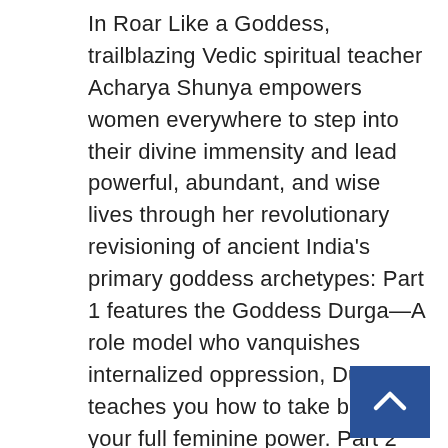In Roar Like a Goddess, trailblazing Vedic spiritual teacher Acharya Shunya empowers women everywhere to step into their divine immensity and lead powerful, abundant, and wise lives through her revolutionary revisioning of ancient India's primary goddess archetypes: Part 1 features the Goddess Durga—A role model who vanquishes internalized oppression, Durga teaches you how to take back your full feminine power. Part 2 introduces the Goddess Lakshmi—Known for her beauty and generous spirit, Lakshmi guides you to cultivate unshakable inner contentment and soul-aligned abundance. Part 3 celebrates the Goddess Saraswati—The ultimate teacher of our deepest journey to Self, Saraswati